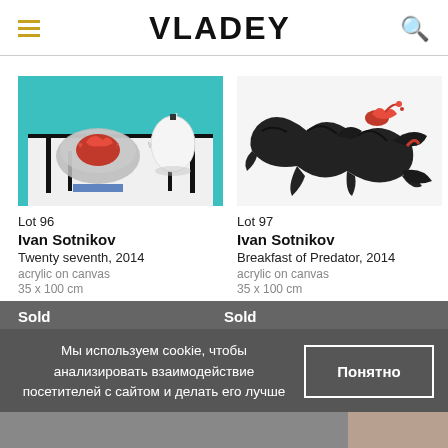VLADEY
[Figure (photo): Painting by Ivan Sotnikov - Twenty seventh, 2014. Colorful artwork showing objects on a table with teal background, red figure in bowl.]
Lot 96
Ivan Sotnikov
Twenty seventh, 2014
acrylic on canvas
35 x 100 cm
[Figure (photo): Painting by Ivan Sotnikov - Breakfast of Predator, 2014. Dark expressionist painting showing black creature with red splashes on white background.]
Lot 97
Ivan Sotnikov
Breakfast of Predator, 2014
acrylic on canvas
35 x 100 cm
Sold
Sold
Мы используем cookie, чтобы анализировать взаимодействие посетителей с сайтом и делать его лучше
Понятно